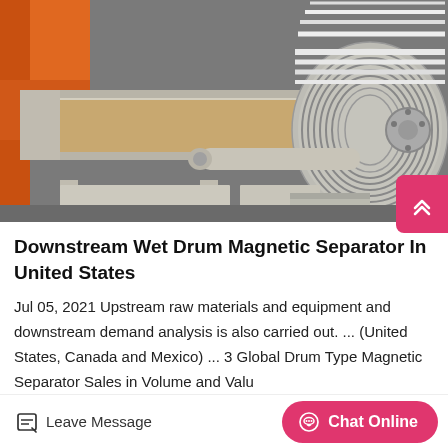[Figure (photo): Industrial wet drum magnetic separator machine, showing a large cylindrical drum with ridged surface, white metal frame and chute, photographed from close up at ground level. Orange equipment visible in background.]
Downstream Wet Drum Magnetic Separator In United States
Jul 05, 2021 Upstream raw materials and equipment and downstream demand analysis is also carried out. ... (United States, Canada and Mexico) ... 3 Global Drum Type Magnetic Separator Sales in Volume and Valu